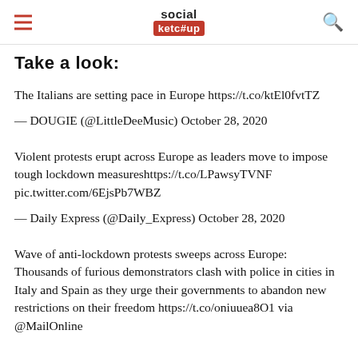social ketc#up
Take a look:
The Italians are setting pace in Europe https://t.co/ktEl0fvtTZ
— DOUGIE (@LittleDeeMusic) October 28, 2020
Violent protests erupt across Europe as leaders move to impose tough lockdown measureshttps://t.co/LPawsyTVNF pic.twitter.com/6EjsPb7WBZ
— Daily Express (@Daily_Express) October 28, 2020
Wave of anti-lockdown protests sweeps across Europe: Thousands of furious demonstrators clash with police in cities in Italy and Spain as they urge their governments to abandon new restrictions on their freedom https://t.co/oniuuea8O1 via @MailOnline